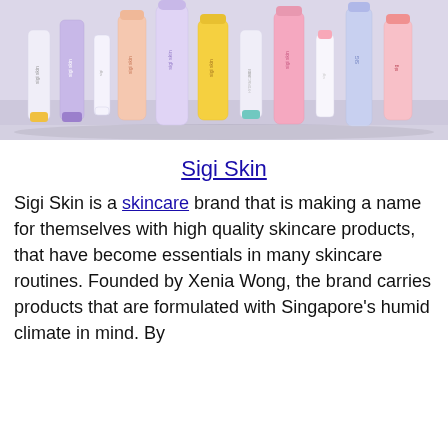[Figure (photo): Flatlay photo of multiple Sigi Skin skincare product tubes and bottles in pastel colors (white, lavender, peach, yellow, pink, mint) arranged on a light purple/lavender background.]
Sigi Skin
Sigi Skin is a skincare brand that is making a name for themselves with high quality skincare products, that have become essentials in many skincare routines. Founded by Xenia Wong, the brand carries products that are formulated with Singapore's humid climate in mind. By